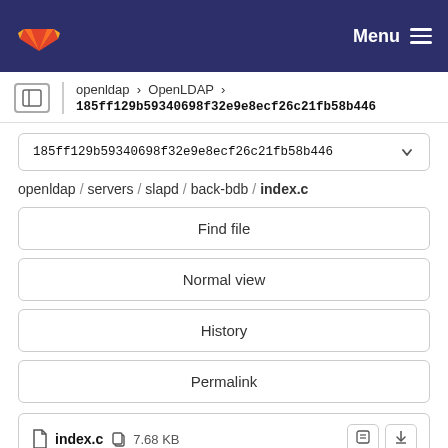Menu
openldap › OpenLDAP › 185ff129b59340698f32e9e8ecf26c21fb58b446
185ff129b59340698f32e9e8ecf26c21fb58b446
openldap / servers / slapd / back-bdb / index.c
Find file
Normal view
History
Permalink
index.c  7.68 KB
Newer  Older